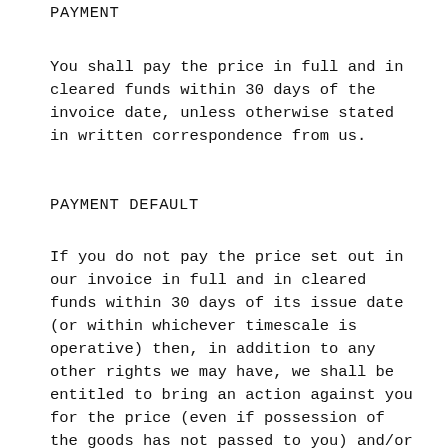PAYMENT
You shall pay the price in full and in cleared funds within 30 days of the invoice date, unless otherwise stated in written correspondence from us.
PAYMENT DEFAULT
If you do not pay the price set out in our invoice in full and in cleared funds within 30 days of its issue date (or within whichever timescale is operative) then, in addition to any other rights we may have, we shall be entitled to bring an action against you for the price (even if possession of the goods has not passed to you) and/or cancel the agreement between us and/or suspend any further deliveries to you and/or charge you interest on the outstanding amount at the rate of 8% per annum above the base rate of NatWest Bank plc calculated on a daily basis and this rate shall apply both before and after the issue of any legal proceedings we may take against you to recover any unpaid amount